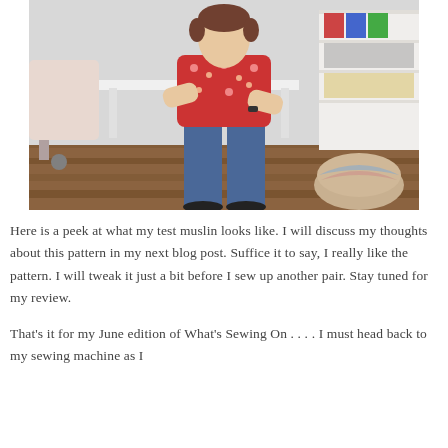[Figure (photo): A person standing with arms crossed in a sewing room, wearing a red floral top and blue jeans with black shoes. Behind them is a white desk/table, office chair, fabric storage shelving, and a round pouffe on wooden flooring.]
Here is a peek at what my test muslin looks like. I will discuss my thoughts about this pattern in my next blog post. Suffice it to say, I really like the pattern. I will tweak it just a bit before I sew up another pair. Stay tuned for my review.
That's it for my June edition of What's Sewing On . . . . I must head back to my sewing machine as I